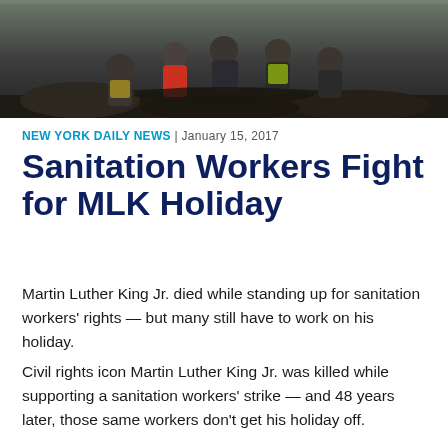[Figure (photo): News article photo showing sanitation workers outdoors, one wearing a yellow safety vest, crouching or gathered together in a dark outdoor setting]
NEW YORK DAILY NEWS | January 15, 2017
Sanitation Workers Fight for MLK Holiday
Martin Luther King Jr. died while standing up for sanitation workers' rights — but many still have to work on his holiday.
Civil rights icon Martin Luther King Jr. was killed while supporting a sanitation workers' strike — and 48 years later, those same workers don't get his holiday off.